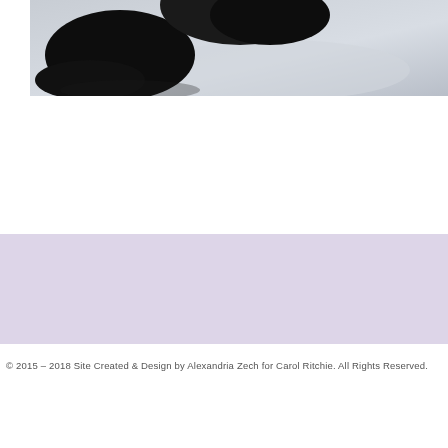[Figure (photo): Close-up photograph of dark/black stones or objects on a light reflective surface, partially cropped at top of page]
[Figure (other): Lavender/light purple rectangular banner or footer background block]
© 2015 – 2018 Site Created & Design by Alexandria Zech for Carol Ritchie. All Rights Reserved.